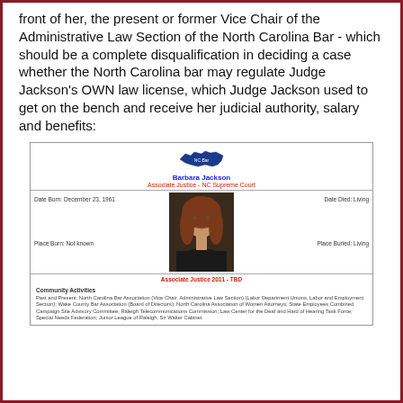front of her, the present or former Vice Chair of the Administrative Law Section of the North Carolina Bar - which should be a complete disqualification in deciding a case whether the North Carolina bar may regulate Judge Jackson's OWN law license, which Judge Jackson used to get on the bench and receive her judicial authority, salary and benefits:
[Figure (other): Profile card for Barbara Jackson, Associate Justice - NC Supreme Court. Includes NC state map icon, portrait photo, dates (Date Born: December 23, 1961; Date Died: Living), places (Place Born: Not known; Place Buried: Living), service dates (Associate Justice 2011 - TBD), and community activities listing NC Bar Association Vice Chair Administrative Law Section, Labor Department Unions, Labor and Employment Section, Wake County Bar Association Board of Directors, NC Association of Women Attorneys, State Employees Combined Campaign Site Advisory Committee, Raleigh Telecommunications Commission, Law Center for the Deaf and Hard of Hearing Task Force, Special Needs Federation, Junior League of Raleigh, Sir Walter Cabinet.]